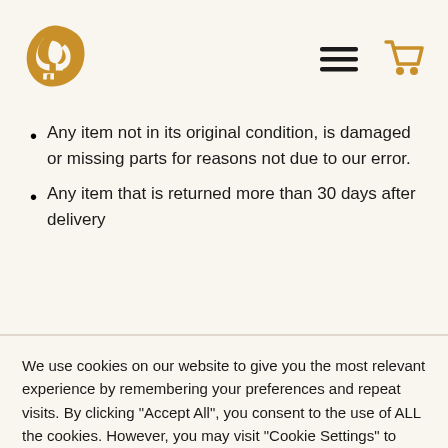[Figure (logo): Gold/brown abstract logo with letters forming a circular shape, resembling stylized leaves or petals]
Any item not in its original condition, is damaged or missing parts for reasons not due to our error.
Any item that is returned more than 30 days after delivery
Sale items
We use cookies on our website to give you the most relevant experience by remembering your preferences and repeat visits. By clicking "Accept All", you consent to the use of ALL the cookies. However, you may visit "Cookie Settings" to provide a controlled consent.